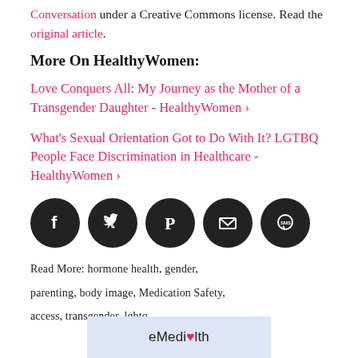Conversation under a Creative Commons license. Read the original article.
More On HealthyWomen:
Love Conquers All: My Journey as the Mother of a Transgender Daughter - HealthyWomen >
What's Sexual Orientation Got to Do With It? LGTBQ People Face Discrimination in Healthcare - HealthyWomen >
[Figure (infographic): Row of five dark circular social media share icons: Facebook, Twitter, Pinterest, Email, SMS]
Read More: hormone health, gender, parenting, body image, Medication Safety, access, transgender, lgbtq
[Figure (logo): eMediHealth logo in a light blue/lavender box with a heart icon]